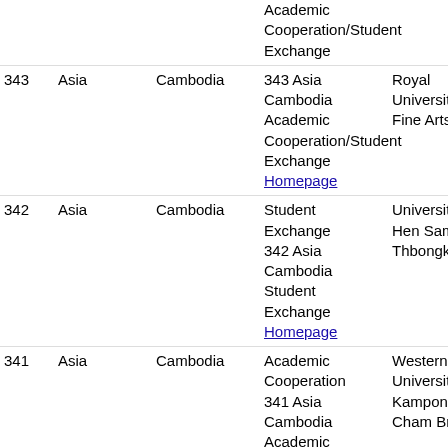| No. | Region | Country | Agreement Type | Partner Institution |
| --- | --- | --- | --- | --- |
| 343 | Asia | Cambodia | Academic Cooperation/Student Exchange
343 Asia Cambodia Academic Cooperation/Student Exchange Homepage | Royal University Fine Arts |
| 342 | Asia | Cambodia | Student Exchange
342 Asia Cambodia Student Exchange Homepage | University of Hen Samr in Thbongkhmum |
| 341 | Asia | Cambodia | Academic Cooperation
341 Asia Cambodia Academic Cooperation | Western University Kampong Cham Branch |
| 340 | Asia | Cambodia | Academic Cooperation
340 Asia Cambodia Academic Cooperation Homepage | Royal University Phnom Penh |
| 339 | Asia | China | Student Exchange
339 Asia China Student Exchange Homepage | Baoji University of Arts and Sciences |
|  |  |  | Student Exchange/Dual Degree (1+1+2) |  |